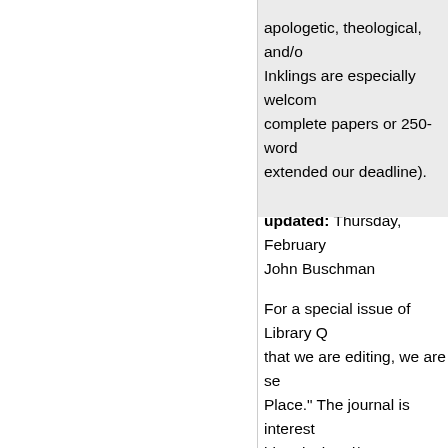apologetic, theological, and/o Inklings are especially welcom complete papers or 250-word extended our deadline).
CFP: Library as Place
updated: Thursday, February John Buschman
For a special issue of Library Q that we are editing, we are se Place." The journal is interest historical and/or contemporan of interest, the role of the libr public sphere, the influence o within contemporary urban o library spaces by various clien particular, we would encoura